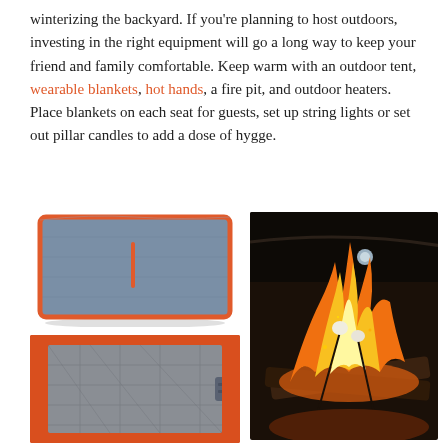winterizing the backyard. If you're planning to host outdoors, investing in the right equipment will go a long way to keep your friend and family comfortable. Keep warm with an outdoor tent, wearable blankets, hot hands, a fire pit, and outdoor heaters. Place blankets on each seat for guests, set up string lights or set out pillar candles to add a dose of hygge.
[Figure (photo): A gray wearable blanket with orange trim and a vertical orange stripe/logo in the center, displayed hanging or laid flat against a white background.]
[Figure (photo): Close-up of an orange and gray quilted wearable blanket with gray buckle/clasp, showing the quilted texture and fleece lining.]
[Figure (photo): Dark atmospheric photo of a campfire/fire pit with large flames, burning logs, and marshmallows on sticks being roasted over the fire.]